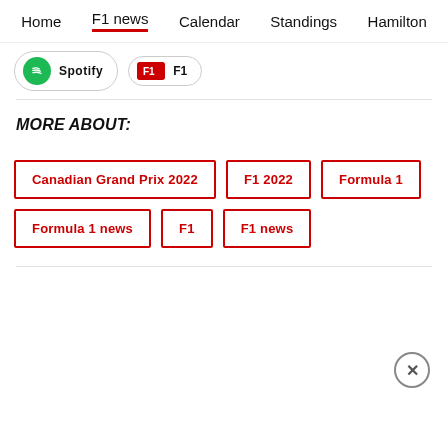Home  F1 news  Calendar  Standings  Hamilton
[Figure (other): Spotify and F1 podcast pill buttons]
MORE ABOUT:
Canadian Grand Prix 2022
F1 2022
Formula 1
Formula 1 news
F1
F1 news